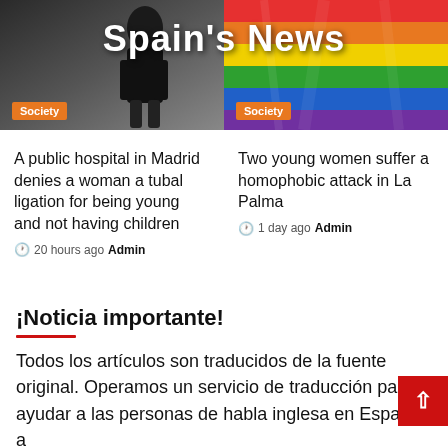[Figure (photo): Left: dark-clothed woman figure on grey background with Spain News site title overlay]
[Figure (photo): Right: Rainbow/pride flag colorful photo]
Society
Society
A public hospital in Madrid denies a woman a tubal ligation for being young and not having children
20 hours ago  Admin
Two young women suffer a homophobic attack in La Palma
1 day ago  Admin
¡Noticia importante!
Todos los artículos son traducidos de la fuente original. Operamos un servicio de traducción pa ayudar a las personas de habla inglesa en España a